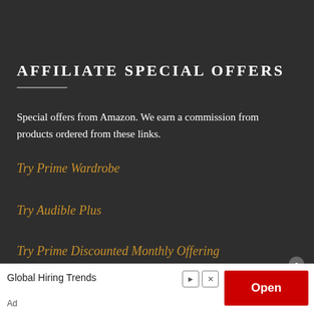AFFILIATE SPECIAL OFFERS
Special offers from Amazon. We earn a commission from products ordered from these links.
Try Prime Wardrobe
Try Audible Plus
Try Prime Discounted Monthly Offering
No compatible source was found for this media.
Global Hiring Trends
Open
Ad